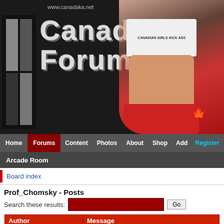[Figure (screenshot): Canadian Forums website banner with logo, 'Canadian Forums' title text, and a photo of a woman wearing a 'Canadian Girls Kick Ass' shirt]
www.canadaka.net
Home | Forums | Content | Photos | About | Shop | Add | Register | Arcade Room
Board index
Prof_Chomsky - Posts
Search these results:
| Author | Message |
| --- | --- |
| Forum: Current Events   Topic: A Very Important Point No One Is Making About the Blockades: |  |
| Prof_Chomsky | Post subject: Re: A Very Important Point No One Is Making About the... |
| Replies: 23 | I just can't bring myself to care. At which point in hist... |